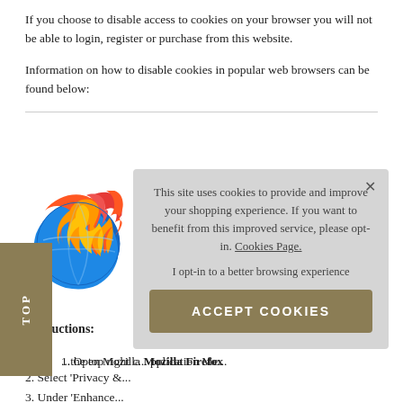If you choose to disable access to cookies on your browser you will not be able to login, register or purchase from this website.
Information on how to disable cookies in popular web browsers can be found below:
[Figure (logo): Firefox browser logo — fox wrapped around a blue globe with orange/red flame]
PC
Instructions:
1. Open Mozilla Firefox ...the top right corner... Application Menu
2. Select 'Privacy &...
3. Under 'Enhance... option
[Figure (screenshot): Cookie consent popup overlay with text: 'This site uses cookies to provide and improve your shopping experience. If you want to benefit from this improved service, please opt-in. Cookies Page.' with opt-in text and ACCEPT COOKIES button]